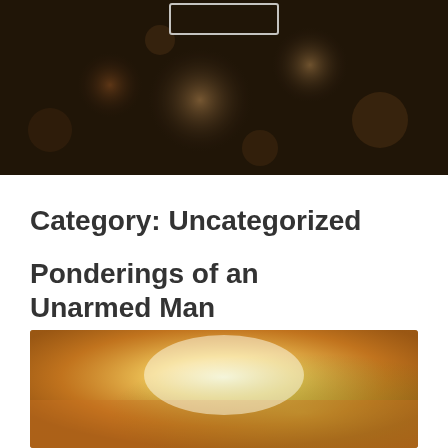[Figure (photo): Blurred bokeh dark background photo showing out-of-focus lights with a white rectangular outline in the upper center area]
Category: Uncategorized
Ponderings of an Unarmed Man
[Figure (photo): Blurred warm-toned outdoor photo with bright sunlight and soft golden-green background]